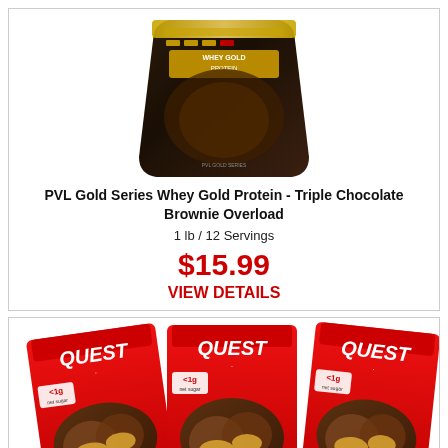[Figure (photo): PVL Gold Series Whey Gold Protein bag in Triple Chocolate Brownie Overload flavor, dark brown packaging]
PVL Gold Series Whey Gold Protein - Triple Chocolate Brownie Overload
1 lb / 12 Servings
$15.99
VIEW DETAILS
[Figure (photo): Three Quest brand Peanut Butter Cups packages showing 2 peanut butter cups each, 11g protein, 1g net carbs, red packaging with chocolate cups image]